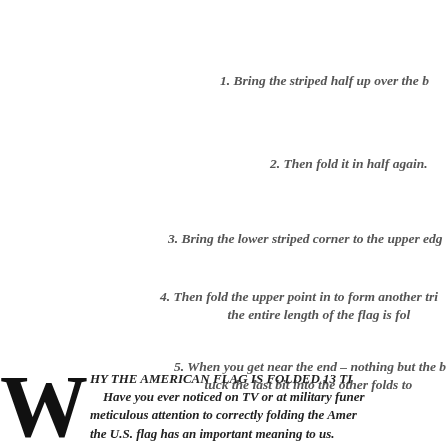1. Bring the striped half up over the b
2. Then fold it in half again.
3. Bring the lower striped corner to the upper edg
4. Then fold the upper point in to form another tri the entire length of the flag is fol
5. When you get near the end – nothing but the b tuck the last bit into the other folds to
WHY THE AMERICAN FLAG IS FOLDED 13 TI
Have you ever noticed on TV or at military funer meticulous attention to correctly folding the Amer the U.S. flag has an important meaning to us.